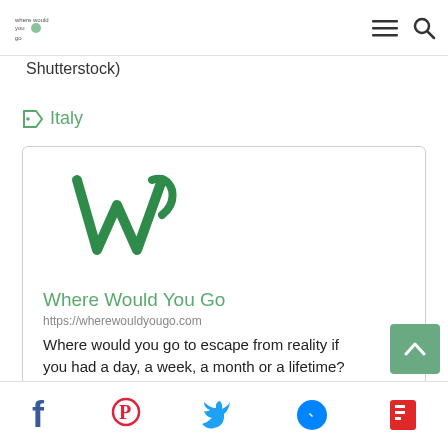Where Would You Go — navigation bar with logo, menu icon, search icon
Shutterstock)
Italy
[Figure (screenshot): Card preview showing the Where Would You Go website with green W logo, site title 'Where Would You Go', URL 'https://wherewouldyougo.com', and description text 'Where would you go to escape from reality if you had a day, a week, a month or a lifetime?']
Social share bar: Facebook, Pinterest, Twitter, Messenger, Flipboard